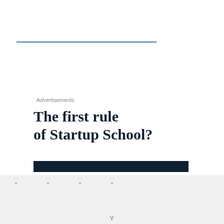Advertisements
The first rule of Startup School?